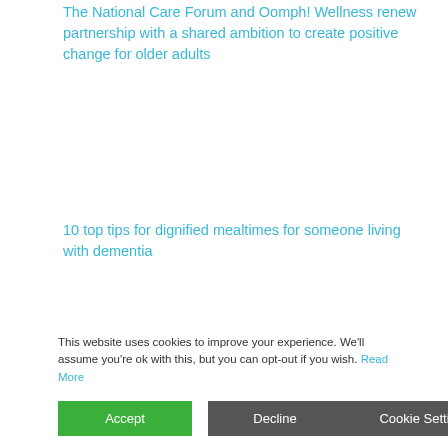The National Care Forum and Oomph! Wellness renew partnership with a shared ambition to create positive change for older adults
10 top tips for dignified mealtimes for someone living with dementia
Archives
August 2022
This website uses cookies to improve your experience. We'll assume you're ok with this, but you can opt-out if you wish. Read More
Accept
Decline
Cookie Settings